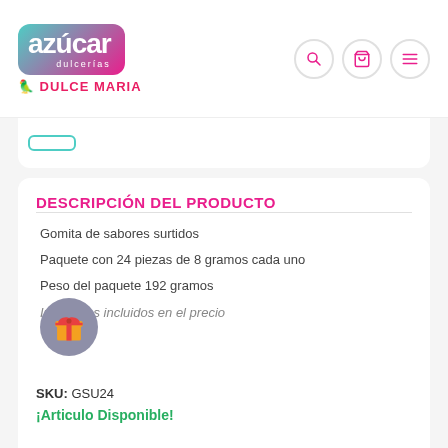[Figure (logo): Azúcar Dulcerías logo — colorful teal-to-pink gradient rounded rectangle with white text 'azúcar dulcerías' and 'DULCE MARIA' in red below]
[Figure (other): Navigation icons: search (magnifier), cart (shopping cart), menu (hamburger) in pink on white circular buttons with grey border]
DESCRIPCIÓN DEL PRODUCTO
Gomita de sabores surtidos
Paquete con 24 piezas de 8 gramos cada uno
Peso del paquete 192 gramos
Impuestos incluidos en el precio
SKU: GSU24
¡Articulo Disponible!